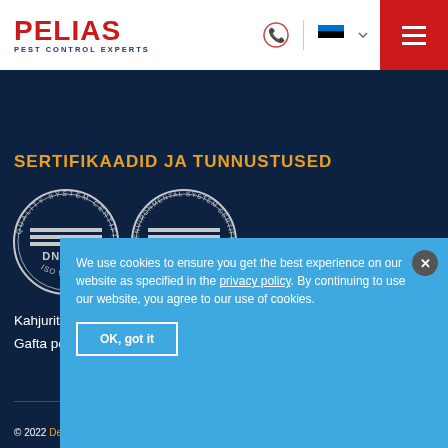PELIAS PEST CONTROL EXPERTS
SERTIFIKAADID JA TUNNUSTUSED
[Figure (logo): DNV GL Quality System Certification ISO 9001 badge]
[Figure (logo): DNV GL Environmental System Certification ISO 14001 badge]
Kahjuritõrje luba Nr. 69
Gafta poolt heakskiidetud fumigeerija Nr. 119997
We use cookies to ensure you get the best experience on our website as specified in the privacy_policy. By continuing to use our website, you agree to our use of cookies.
© 2022 Design...